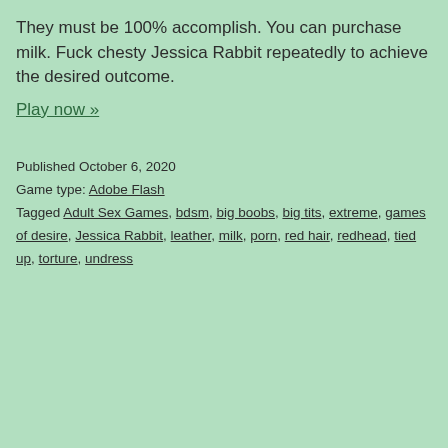They must be 100% accomplish. You can purchase milk. Fuck chesty Jessica Rabbit repeatedly to achieve the desired outcome.
Play now »
Published October 6, 2020
Game type: Adobe Flash
Tagged Adult Sex Games, bdsm, big boobs, big tits, extreme, games of desire, Jessica Rabbit, leather, milk, porn, red hair, redhead, tied up, torture, undress